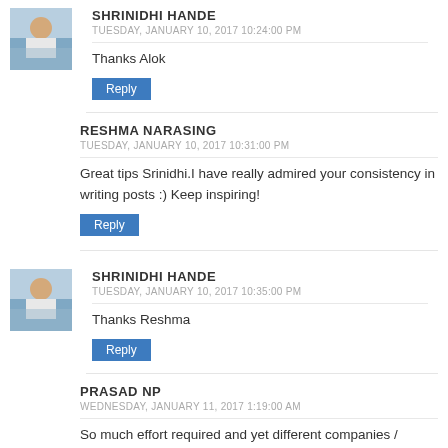SHRINIDHI HANDE
TUESDAY, JANUARY 10, 2017 10:24:00 PM
Thanks Alok
Reply
RESHMA NARASING
TUESDAY, JANUARY 10, 2017 10:31:00 PM
Great tips Srinidhi.I have really admired your consistency in writing posts :) Keep inspiring!
Reply
SHRINIDHI HANDE
TUESDAY, JANUARY 10, 2017 10:35:00 PM
Thanks Reshma
Reply
PRASAD NP
WEDNESDAY, JANUARY 11, 2017 1:19:00 AM
So much effort required and yet different companies / brands etc. expect bloggers to promote them for free... D...